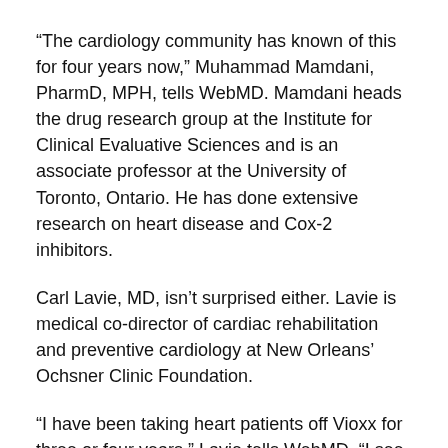“The cardiology community has known of this for four years now,” Muhammad Mamdani, PharmD, MPH, tells WebMD. Mamdani heads the drug research group at the Institute for Clinical Evaluative Sciences and is an associate professor at the University of Toronto, Ontario. He has done extensive research on heart disease and Cox-2 inhibitors.
Carl Lavie, MD, isn’t surprised either. Lavie is medical co-director of cardiac rehabilitation and preventive cardiology at New Orleans’ Ochsner Clinic Foundation.
“I have been taking heart patients off Vioxx for three or four years,” Lavie tells WebMD. “I see many patients with heart disease given Vioxx by rheumatologists and other doctors. I tell them it’s better to take ibuprofen or naproxen. And if they really need a Cox-2 drug, I have been putting them on Celebrex.”